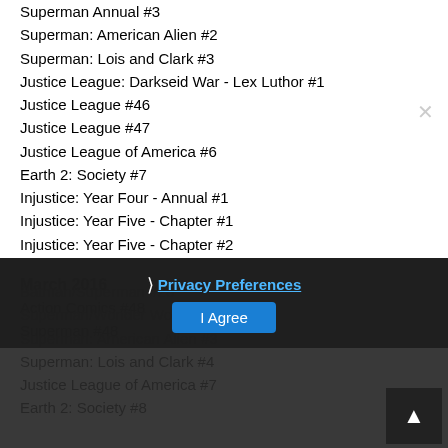Superman Annual #3
Superman: American Alien #2
Superman: Lois and Clark #3
Justice League: Darkseid War - Lex Luthor #1
Justice League #46
Justice League #47
Justice League of America #6
Earth 2: Society #7
Injustice: Year Four - Annual #1
Injustice: Year Five - Chapter #1
Injustice: Year Five - Chapter #2
March 2016
Action Comics #48
Superman #48
Batman/Superman #28
Superman/Wonder Woman #25
Superman: American Alien #3
Superman: Lois and Clark #4
Justice League of America #7
Privacy Preferences
I Agree